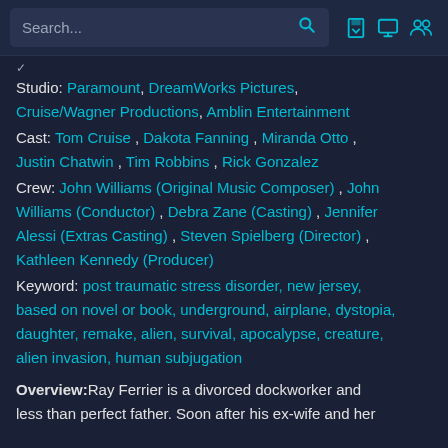Search...
Studio: Paramount, DreamWorks Pictures, Cruise/Wagner Productions, Amblin Entertainment
Cast: Tom Cruise , Dakota Fanning , Miranda Otto , Justin Chatwin , Tim Robbins , Rick Gonzalez
Crew: John Williams (Original Music Composer) , John Williams (Conductor) , Debra Zane (Casting) , Jennifer Alessi (Extras Casting) , Steven Spielberg (Director) , Kathleen Kennedy (Producer)
Keyword: post traumatic stress disorder, new jersey, based on novel or book, underground, airplane, dystopia, daughter, remake, alien, survival, apocalypse, creature, alien invasion, human subjugation
Overview:Ray Ferrier is a divorced dockworker and less than perfect father. Soon after his ex-wife and her